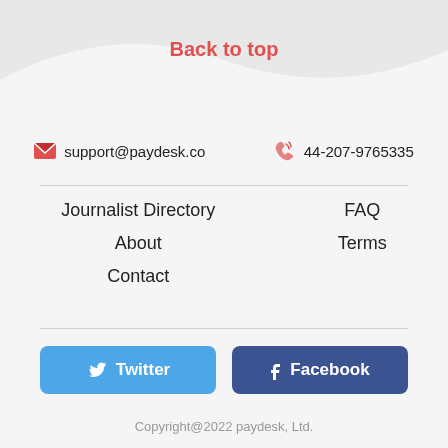Back to top
support@paydesk.co
44-207-9765335
Journalist Directory
About
Contact
FAQ
Terms
Twitter
Facebook
Copyright@2022 paydesk, Ltd.